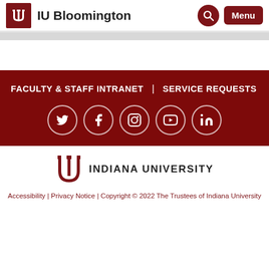IU Bloomington
FACULTY & STAFF INTRANET | SERVICE REQUESTS
[Figure (other): Social media icons: Twitter, Facebook, Instagram, YouTube, LinkedIn in white circles on dark red background]
[Figure (logo): Indiana University trident logo with text INDIANA UNIVERSITY]
Accessibility | Privacy Notice | Copyright © 2022 The Trustees of Indiana University